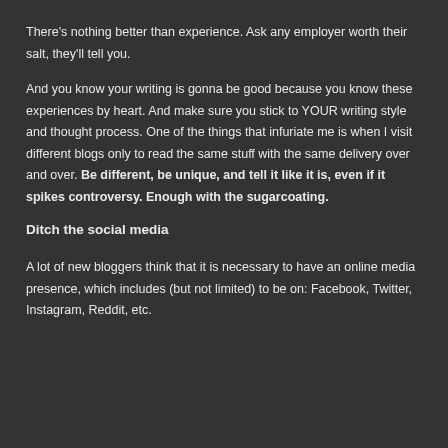There's nothing better than experience. Ask any employer worth their salt, they'll tell you.
And you know your writing is gonna be good because you know these experiences by heart. And make sure you stick to YOUR writing style and thought process. One of the things that infuriate me is when I visit different blogs only to read the same stuff with the same delivery over and over. Be different, be unique, and tell it like it is, even if it spikes controversy. Enough with the sugarcoating.
Ditch the social media
A lot of new bloggers think that it is necessary to have an online media presence, which includes (but not limited) to be on: Facebook, Twitter, Instagram, Reddit, etc.